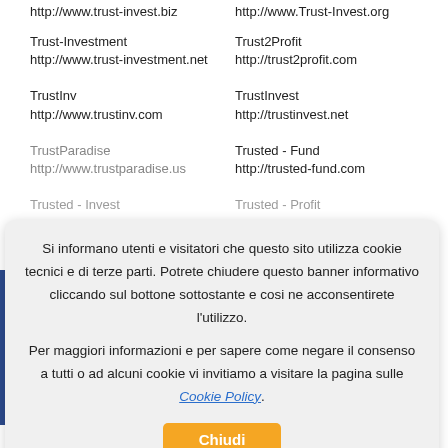http://www.trust-invest.biz
http://www.Trust-Invest.org
Trust-Investment
http://www.trust-investment.net
Trust2Profit
http://trust2profit.com
TrustInv
http://www.trustinv.com
TrustInvest
http://trustinvest.net
TrustParadise
http://www.trustparadise.us
Trusted - Fund
http://trusted-fund.com
Trusted - Invest [partially visible]
Trusted - Profit [partially visible]
Si informano utenti e visitatori che questo sito utilizza cookie tecnici e di terze parti. Potrete chiudere questo banner informativo cliccando sul bottone sottostante e cosi ne acconsentirete l'utilizzo.

Per maggiori informazioni e per sapere come negare il consenso a tutti o ad alcuni cookie vi invitiamo a visitare la pagina sulle Cookie Policy.